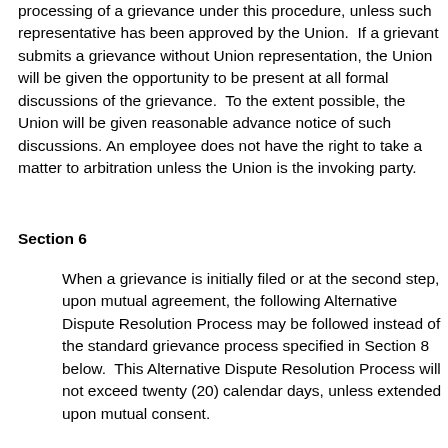processing of a grievance under this procedure, unless such representative has been approved by the Union.  If a grievant submits a grievance without Union representation, the Union will be given the opportunity to be present at all formal discussions of the grievance.  To the extent possible, the Union will be given reasonable advance notice of such discussions. An employee does not have the right to take a matter to arbitration unless the Union is the invoking party.
Section 6
When a grievance is initially filed or at the second step, upon mutual agreement, the following Alternative Dispute Resolution Process may be followed instead of the standard grievance process specified in Section 8 below.  This Alternative Dispute Resolution Process will not exceed twenty (20) calendar days, unless extended upon mutual consent.